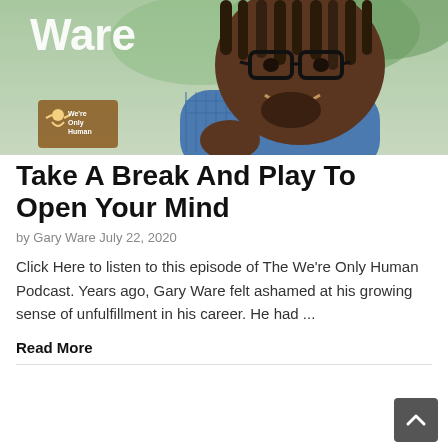[Figure (photo): A smiling Black man with dreadlocks and glasses wearing a blue plaid shirt outdoors, with 'Ware' text overlay and 'We're Only Human' podcast logo in the bottom left corner.]
Take A Break And Play To Open Your Mind
by Gary Ware July 22, 2020
Click Here to listen to this episode of The We're Only Human Podcast. Years ago, Gary Ware felt ashamed at his growing sense of unfulfillment in his career. He had ...
Read More